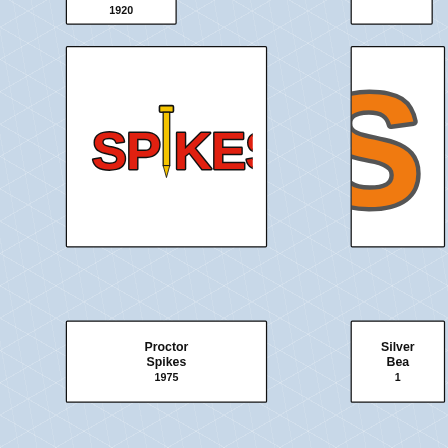1920
[Figure (logo): Proctor Spikes baseball team logo — the word SPIKES in bold red letters with a yellow railroad spike replacing the letter I, with black outline]
[Figure (logo): Partial orange and grey S letter logo visible on right side]
Proctor Spikes
1975
Silver
Bea...
1...